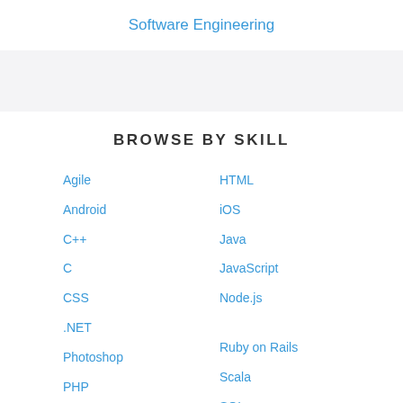Software Engineering
BROWSE BY SKILL
Agile
Android
C++
C
CSS
.NET
Photoshop
PHP
Python
HTML
iOS
Java
JavaScript
Node.js
Ruby on Rails
Scala
SQL